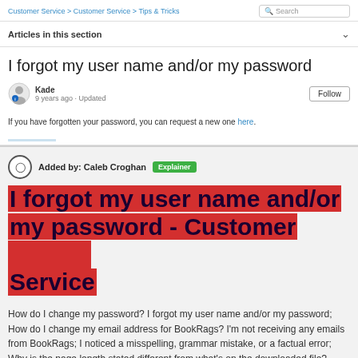Customer Service > Customer Service > Tips & Tricks
Articles in this section
I forgot my user name and/or my password
Kade · 9 years ago · Updated
If you have forgotten your password, you can request a new one here.
Added by: Caleb Croghan  Explainer
I forgot my user name and/or my password - Customer Service
How do I change my password? I forgot my user name and/or my password; How do I change my email address for BookRags? I'm not receiving any emails from BookRags; I noticed a misspelling, grammar mistake, or a factual error; Why is the page length stated different from what's on the downloaded file?